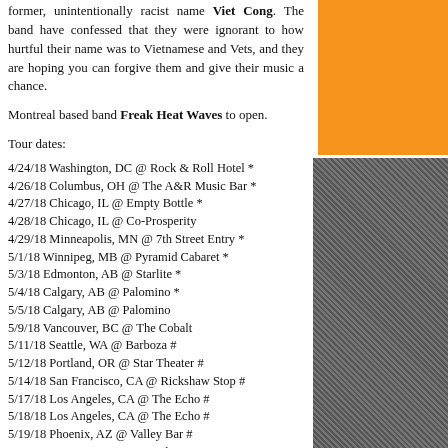former, unintentionally racist name Viet Cong. The band have confessed that they were ignorant to how hurtful their name was to Vietnamese and Vets, and they are hoping you can forgive them and give their music a chance.
Montreal based band Freak Heat Waves to open.
Tour dates:
4/24/18 Washington, DC @ Rock & Roll Hotel *
4/26/18 Columbus, OH @ The A&R Music Bar *
4/27/18 Chicago, IL @ Empty Bottle *
4/28/18 Chicago, IL @ Co-Prosperity
4/29/18 Minneapolis, MN @ 7th Street Entry *
5/1/18 Winnipeg, MB @ Pyramid Cabaret *
5/3/18 Edmonton, AB @ Starlite *
5/4/18 Calgary, AB @ Palomino *
5/5/18 Calgary, AB @ Palomino
5/9/18 Vancouver, BC @ The Cobalt
5/11/18 Seattle, WA @ Barboza #
5/12/18 Portland, OR @ Star Theater #
5/14/18 San Francisco, CA @ Rickshaw Stop #
5/17/18 Los Angeles, CA @ The Echo #
5/18/18 Los Angeles, CA @ The Echo #
5/19/18 Phoenix, AZ @ Valley Bar #
5/22/18 Austin, TX @ Barracuda
* w/ Freak Heat Waves
# w/ Moaning
PANDA BEAR
+ Geologist, DJ Matthew St-Germain
7th Street Entry